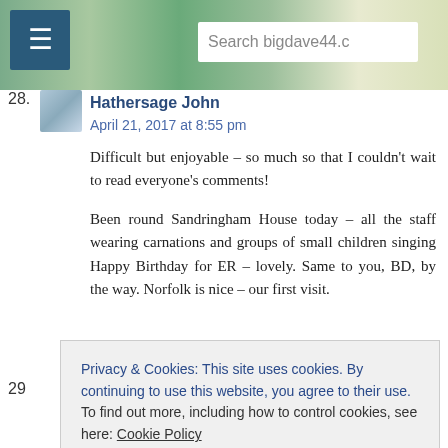Search bigdave44.co
28.
Hathersage John
April 21, 2017 at 8:55 pm
Difficult but enjoyable – so much so that I couldn't wait to read everyone's comments!
Been round Sandringham House today – all the staff wearing carnations and groups of small children singing Happy Birthday for ER – lovely. Same to you, BD, by the way. Norfolk is nice – our first visit.
Privacy & Cookies: This site uses cookies. By continuing to use this website, you agree to their use. To find out more, including how to control cookies, see here: Cookie Policy
Close and accept
29
of clues solved but I got there in the end which pleased me.
Thanks to DT and DM 4*/4*